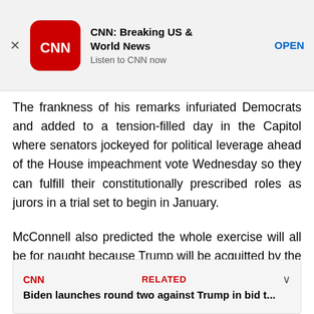[Figure (other): CNN Breaking US & World News app advertisement banner with CNN logo, title 'CNN: Breaking US & World News', subtitle 'Listen to CNN now', and OPEN button]
The frankness of his remarks infuriated Democrats and added to a tension-filled day in the Capitol where senators jockeyed for political leverage ahead of the House impeachment vote Wednesday so they can fulfill their constitutionally prescribed roles as jurors in a trial set to begin in January.
McConnell also predicted the whole exercise will all be for naught because Trump will be acquitted by the GOP-led Senate: “We will have a largely partisan outcome,” he said.
Biden launches round two against Trump in bid t...